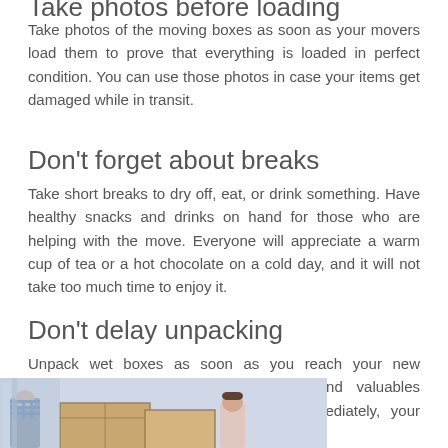Take photos before loading
Take photos of the moving boxes as soon as your movers load them to prove that everything is loaded in perfect condition. You can use those photos in case your items get damaged while in transit.
Don’t forget about breaks
Take short breaks to dry off, eat, or drink something. Have healthy snacks and drinks on hand for those who are helping with the move. Everyone will appreciate a warm cup of tea or a hot chocolate on a cold day, and it will not take too much time to enjoy it.
Don’t delay unpacking
Unpack wet boxes as soon as you reach your new residence. Handle sofas, mattresses, and valuables carefully. If you don’t unpack them immediately, your precious items may get moldy.
[Figure (photo): Two people unpacking cardboard moving boxes]